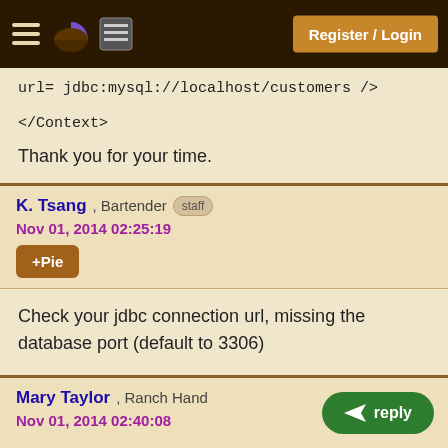Register / Login
url= jdbc:mysql://localhost/customers />

</Context>

Thank you for your time.
K. Tsang , Bartender staff
Nov 01, 2014 02:25:19
+Pie
Check your jdbc connection url, missing the database port (default to 3306)
Mary Taylor , Ranch Hand
Nov 01, 2014 02:40:08
+Pie
reply